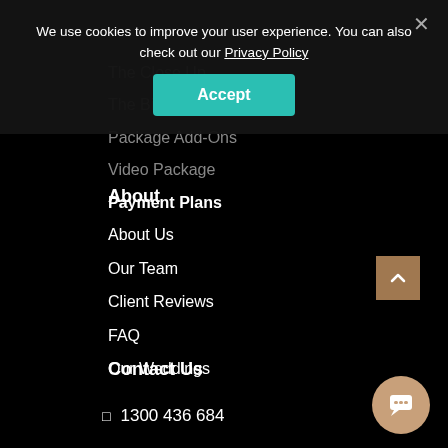We use cookies to improve your user experience. You can also check out our Privacy Policy
Accept
The Close Up
The Big Picture
Package Add-Ons
Video Package
Payment Plans
About
About Us
Our Team
Client Reviews
FAQ
Our Weddings
Contact Us
1300 436 684